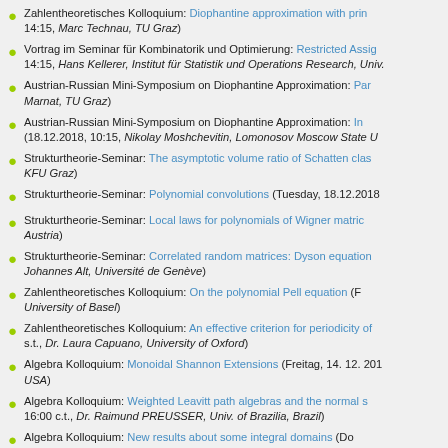Zahlentheoretisches Kolloquium: Diophantine approximation with prin... 14:15, Marc Technau, TU Graz)
Vortrag im Seminar für Kombinatorik und Optimierung: Restricted Assig... 14:15, Hans Kellerer, Institut für Statistik und Operations Research, Univ...
Austrian-Russian Mini-Symposium on Diophantine Approximation: Par... Marnat, TU Graz)
Austrian-Russian Mini-Symposium on Diophantine Approximation: In... (18.12.2018, 10:15, Nikolay Moshchevitin, Lomonosov Moscow State Ur...
Strukturtheorie-Seminar: The asymptotic volume ratio of Schatten clas... KFU Graz)
Strukturtheorie-Seminar: Polynomial convolutions (Tuesday, 18.12.2018...
Strukturtheorie-Seminar: Local laws for polynomials of Wigner matric... Austria)
Strukturtheorie-Seminar: Correlated random matrices: Dyson equation... Johannes Alt, Université de Genève)
Zahlentheoretisches Kolloquium: On the polynomial Pell equation (F... University of Basel)
Zahlentheoretisches Kolloquium: An effective criterion for periodicity of... s.t., Dr. Laura Capuano, University of Oxford)
Algebra Kolloquium: Monoidal Shannon Extensions (Freitag, 14. 12. 201... USA)
Algebra Kolloquium: Weighted Leavitt path algebras and the normal s... 16:00 c.t., Dr. Raimund PREUSSER, Univ. of Brazilia, Brazil)
Algebra Kolloquium: New results about some integral domains (Do... MOCHAMPS Univ. of T...)